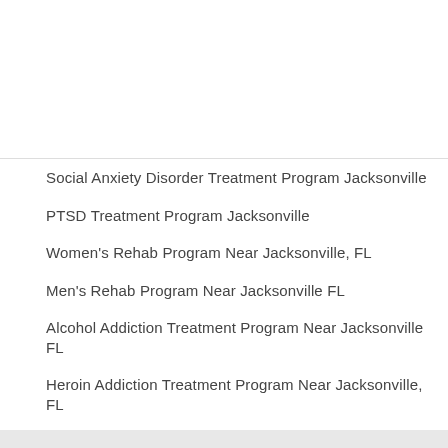Social Anxiety Disorder Treatment Program Jacksonville
PTSD Treatment Program Jacksonville
Women's Rehab Program Near Jacksonville, FL
Men's Rehab Program Near Jacksonville FL
Alcohol Addiction Treatment Program Near Jacksonville FL
Heroin Addiction Treatment Program Near Jacksonville, FL